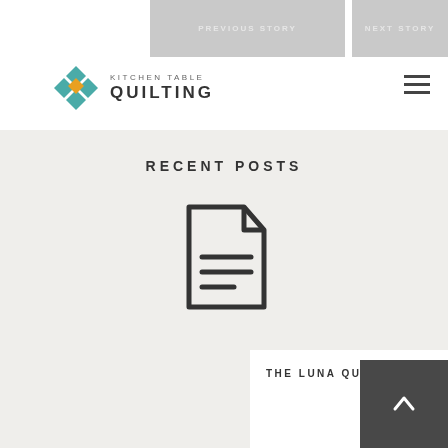PREVIOUS STORY | NEXT STORY | Kitchen Table Quilting
RECENT POSTS
[Figure (illustration): Document/post icon — a stylized page with folded corner and three horizontal lines representing text]
THE LUNA QUILTALONG